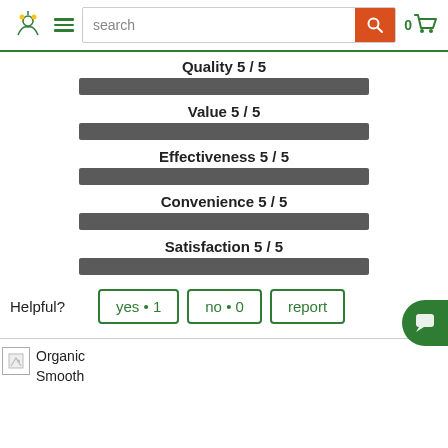search | 0
Quality 5 / 5
[Figure (bar-chart): Ratings]
Helpful?
yes • 1
no • 0
report
Organic Smooth